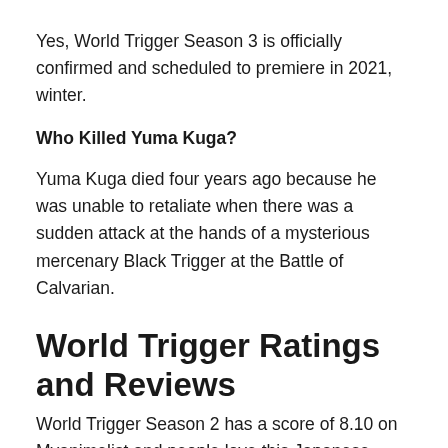Yes, World Trigger Season 3 is officially confirmed and scheduled to premiere in 2021, winter.
Who Killed Yuma Kuga?
Yuma Kuga died four years ago because he was unable to retaliate when there was a sudden attack at the hands of a mysterious mercenary Black Trigger at the Battle of Calvarian.
World Trigger Ratings and Reviews
World Trigger Season 2 has a score of 8.10 on Myanimelist and people love this Japanese anime very much.